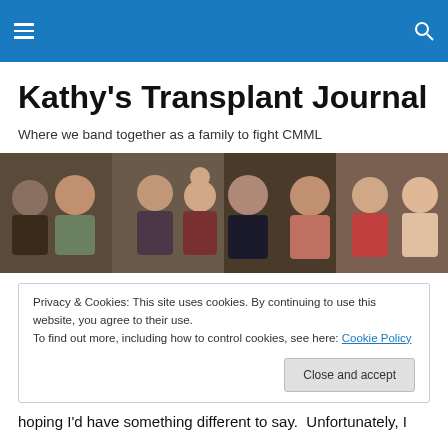Navigation bar with menu and search icons
Kathy's Transplant Journal
Where we band together as a family to fight CMML
[Figure (photo): Family group photo collage showing multiple people smiling, arranged in a horizontal strip]
Privacy & Cookies: This site uses cookies. By continuing to use this website, you agree to their use.
To find out more, including how to control cookies, see here: Cookie Policy
hoping I'd have something different to say.  Unfortunately, I